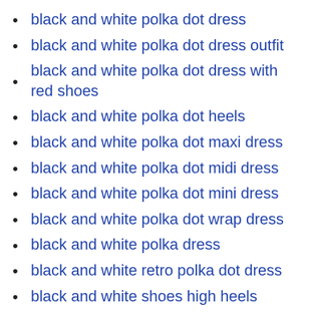black and white polka dot dress
black and white polka dot dress outfit
black and white polka dot dress with red shoes
black and white polka dot heels
black and white polka dot maxi dress
black and white polka dot midi dress
black and white polka dot mini dress
black and white polka dot wrap dress
black and white polka dress
black and white retro polka dot dress
black and white shoes high heels
black and white shoes ladies heels
black and white shoes womens heels
black and white smart casual dress
black and white spotty dress